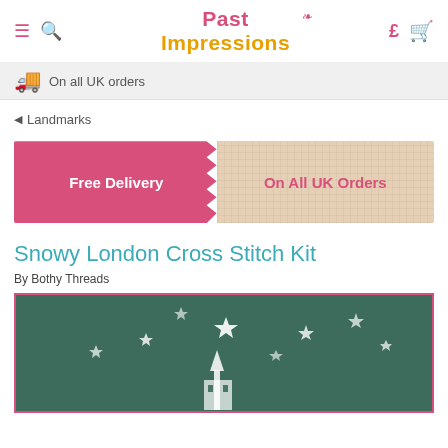Past Impressions — navigation header with hamburger, search, currency (£) and cart icons
[Figure (screenshot): Shipping banner showing truck icon and text 'On all UK orders' on a light grey background]
◄ Landmarks
[Figure (infographic): Free Delivery On All UK Orders promotional banner — left half is pink with white bold text 'Free Delivery', right half is beige/linen cross-stitch texture with pink text 'On All UK Orders', separated by a zigzag edge]
Snowy London Cross Stitch Kit
By Bothy Threads
[Figure (photo): Product photo of the Snowy London cross stitch kit showing a dark teal/green fabric background with white star motifs and the outline of a church/building stitched in white]